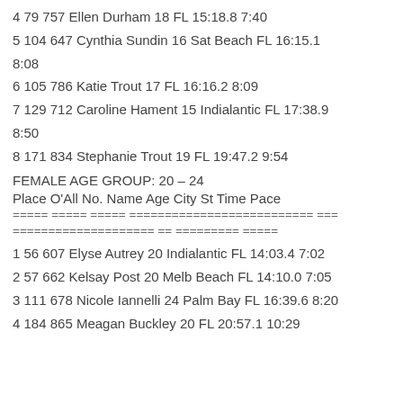4 79 757 Ellen Durham 18 FL 15:18.8 7:40
5 104 647 Cynthia Sundin 16 Sat Beach FL 16:15.1 8:08
6 105 786 Katie Trout 17 FL 16:16.2 8:09
7 129 712 Caroline Hament 15 Indialantic FL 17:38.9 8:50
8 171 834 Stephanie Trout 19 FL 19:47.2 9:54
FEMALE AGE GROUP: 20 – 24
Place O'All No. Name Age City St Time Pace
===== ===== ===== ========================== === ==================== == ========= =====
1 56 607 Elyse Autrey 20 Indialantic FL 14:03.4 7:02
2 57 662 Kelsay Post 20 Melb Beach FL 14:10.0 7:05
3 111 678 Nicole Iannelli 24 Palm Bay FL 16:39.6 8:20
4 184 865 Meagan Buckley 20 FL 20:57.1 10:29